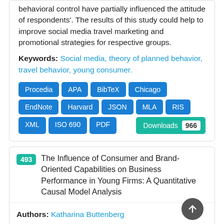behavioral control have partially influenced the attitude of respondents'. The results of this study could help to improve social media travel marketing and promotional strategies for respective groups.
Keywords: Social media, theory of planned behavior, travel behavior, young consumer.
Procedia
APA
BibTeX
Chicago
EndNote
Harvard
JSON
MLA
RIS
XML
ISO 690
PDF
Downloads 966
493 The Influence of Consumer and Brand-Oriented Capabilities on Business Performance in Young Firms: A Quantitative Causal Model Analysis
Authors: Katharina Buttenberg